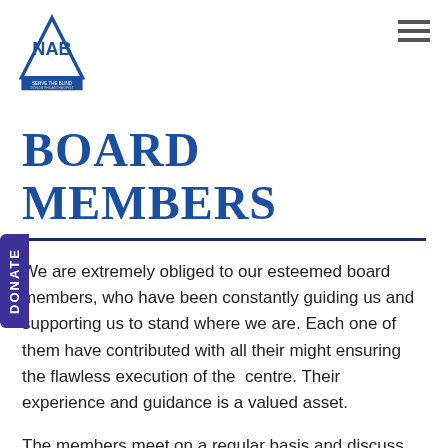NAB – Serve the Blind [logo] | hamburger menu
BOARD MEMBERS
We are extremely obliged to our esteemed board members, who have been constantly guiding us and supporting us to stand where we are. Each one of them have contributed with all their might ensuring the flawless execution of the centre. Their experience and guidance is a valued asset.
The members meet on a regular basis and discuss on several agendas and reforms benefiting the Centre. The board members are eminent individuals from diverse sectors and